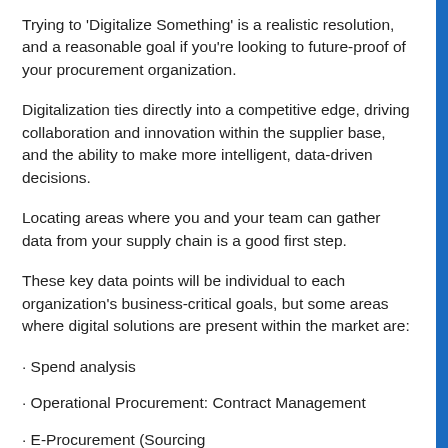Trying to 'Digitalize Something' is a realistic resolution, and a reasonable goal if you're looking to future-proof of your procurement organization.
Digitalization ties directly into a competitive edge, driving collaboration and innovation within the supplier base, and the ability to make more intelligent, data-driven decisions.
Locating areas where you and your team can gather data from your supply chain is a good first step.
These key data points will be individual to each organization's business-critical goals, but some areas where digital solutions are present within the market are:
· Spend analysis
· Operational Procurement: Contract Management
· E-Procurement (Sourcing